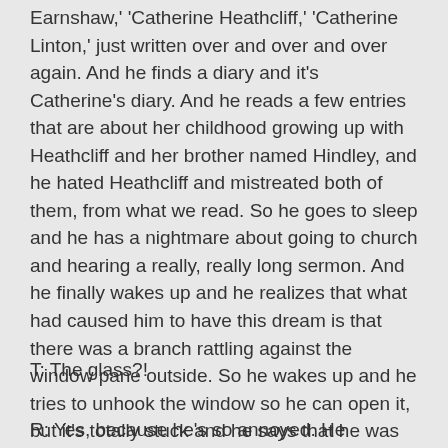Earnshaw,' 'Catherine Heathcliff,' 'Catherine Linton,' just written over and over and over again. And he finds a diary and it's Catherine's diary. And he reads a few entries that are about her childhood growing up with Heathcliff and her brother named Hindley, and he hated Heathcliff and mistreated both of them, from what we read. So he goes to sleep and he has a nightmare about going to church and hearing a really, really long sermon. And he finally wakes up and he realizes that what had caused him to have this dream is that there was a branch rattling against the window pane outside. So he wakes up and he tries to unhook the window so he can open it, but it's totally stuck and he says that he was so annoyed that "I must stop it, nevertheless!" So he PUNCHES THROUGH THE WINDOW.
T: The glass?!
R: Yes, because he's so annoyed. He punches through the